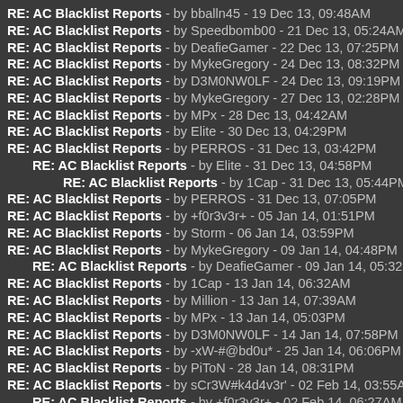RE: AC Blacklist Reports - by bballn45 - 19 Dec 13, 09:48AM
RE: AC Blacklist Reports - by Speedbomb00 - 21 Dec 13, 05:24AM
RE: AC Blacklist Reports - by DeafieGamer - 22 Dec 13, 07:25PM
RE: AC Blacklist Reports - by MykeGregory - 24 Dec 13, 08:32PM
RE: AC Blacklist Reports - by D3M0NW0LF - 24 Dec 13, 09:19PM
RE: AC Blacklist Reports - by MykeGregory - 27 Dec 13, 02:28PM
RE: AC Blacklist Reports - by MPx - 28 Dec 13, 04:42AM
RE: AC Blacklist Reports - by Elite - 30 Dec 13, 04:29PM
RE: AC Blacklist Reports - by PERROS - 31 Dec 13, 03:42PM
RE: AC Blacklist Reports - by Elite - 31 Dec 13, 04:58PM
RE: AC Blacklist Reports - by 1Cap - 31 Dec 13, 05:44PM
RE: AC Blacklist Reports - by PERROS - 31 Dec 13, 07:05PM
RE: AC Blacklist Reports - by +f0r3v3r+ - 05 Jan 14, 01:51PM
RE: AC Blacklist Reports - by Storm - 06 Jan 14, 03:59PM
RE: AC Blacklist Reports - by MykeGregory - 09 Jan 14, 04:48PM
RE: AC Blacklist Reports - by DeafieGamer - 09 Jan 14, 05:32PM
RE: AC Blacklist Reports - by 1Cap - 13 Jan 14, 06:32AM
RE: AC Blacklist Reports - by Million - 13 Jan 14, 07:39AM
RE: AC Blacklist Reports - by MPx - 13 Jan 14, 05:03PM
RE: AC Blacklist Reports - by D3M0NW0LF - 14 Jan 14, 07:58PM
RE: AC Blacklist Reports - by -xW-#@bd0u* - 25 Jan 14, 06:06PM
RE: AC Blacklist Reports - by PiToN - 28 Jan 14, 08:31PM
RE: AC Blacklist Reports - by sCr3W#k4d4v3r' - 02 Feb 14, 03:55AM
RE: AC Blacklist Reports - by +f0r3v3r+ - 02 Feb 14, 06:27AM
RE: AC Blacklist Reports - by MotoShadow - 03 Feb 14, 12:18AM